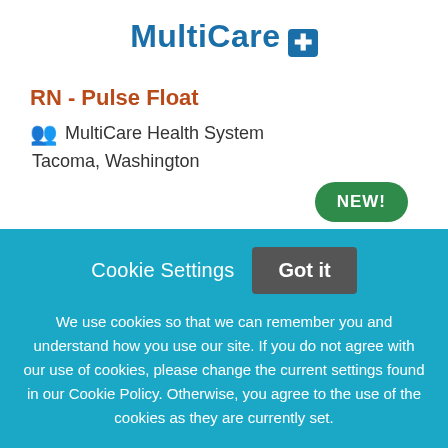[Figure (logo): MultiCare logo with blue text and white cross on blue background badge]
RN - Pulse Float
MultiCare Health System
Tacoma, Washington
[Figure (other): Green oval badge with text NEW!]
Cookie Settings   Got it
We use cookies so that we can remember you and understand how you use our site. If you do not agree with our use of cookies, please change the current settings found in our Cookie Policy. Otherwise, you agree to the use of the cookies as they are currently set.